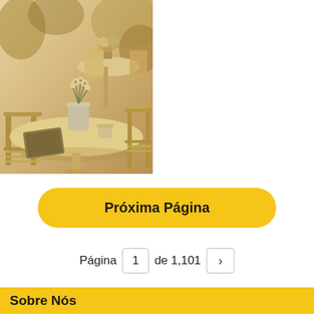[Figure (photo): Sepia-toned photo of an outdoor cafe with round white tables, metal folding chairs, and a potted flower arrangement (wildflowers in a tin bucket) on the foreground table, with a notebook and cup visible.]
Próxima Página
Página  1  de 1,101  >
Sobre Nós